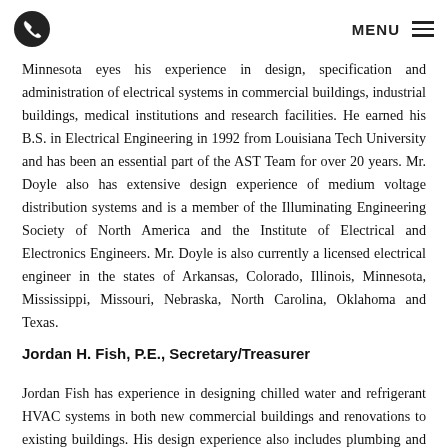MENU
Minnesota eyes his experience in design, specification and administration of electrical systems in commercial buildings, industrial buildings, medical institutions and research facilities. He earned his B.S. in Electrical Engineering in 1992 from Louisiana Tech University and has been an essential part of the AST Team for over 20 years. Mr. Doyle also has extensive design experience of medium voltage distribution systems and is a member of the Illuminating Engineering Society of North America and the Institute of Electrical and Electronics Engineers. Mr. Doyle is also currently a licensed electrical engineer in the states of Arkansas, Colorado, Illinois, Minnesota, Mississippi, Missouri, Nebraska, North Carolina, Oklahoma and Texas.
Jordan H. Fish, P.E., Secretary/Treasurer
Jordan Fish has experience in designing chilled water and refrigerant HVAC systems in both new commercial buildings and renovations to existing buildings. His design experience also includes plumbing and fire protection systems. He has worked